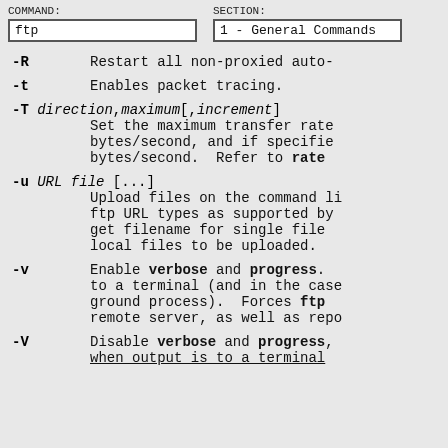COMMAND: ftp   SECTION: 1 - General Commands
-R   Restart all non-proxied auto-
-t   Enables packet tracing.
-T direction,maximum[,increment]  Set the maximum transfer rate bytes/second, and if specified bytes/second. Refer to rate
-u URL file [...]  Upload files on the command li ftp URL types as supported by get filename for single file local files to be uploaded.
-v   Enable verbose and progress. to a terminal (and in the case ground process). Forces ftp remote server, as well as repo
-V   Disable verbose and progress, when output is to a terminal